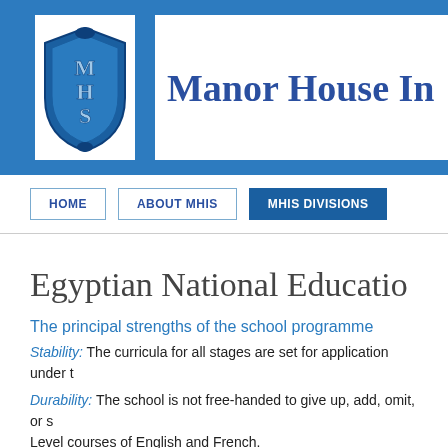[Figure (logo): Manor House International School shield logo in blue with MHS letters]
Manor House In
HOME | ABOUT MHIS | MHIS DIVISIONS
Egyptian National Educatio
The principal strengths of the school programme
Stability: The curricula for all stages are set for application under t
Durability: The school is not free-handed to give up, add, omit, or s Level courses of English and French.